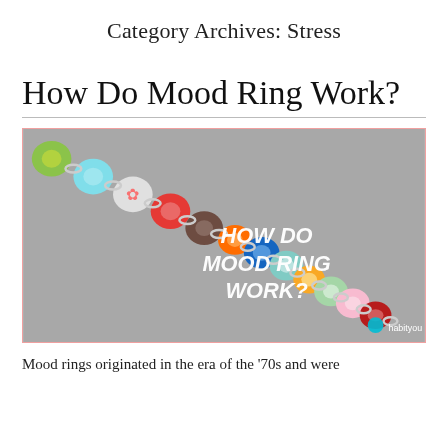Category Archives: Stress
How Do Mood Ring Work?
[Figure (photo): Photo of multiple colorful mood rings arranged diagonally on a grey surface, with text overlay reading HOW DO MOOD RING WORK? and a logo reading 'habityou' in the bottom right corner.]
Mood rings originated in the era of the '70s and were